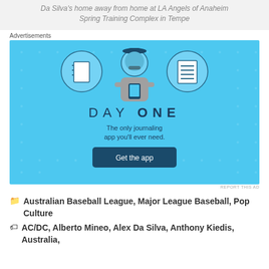Da Silva's home away from home at LA Angels of Anaheim Spring Training Complex in Tempe
Advertisements
[Figure (screenshot): Advertisement for Day One journaling app on a light blue background. Shows icons of a notebook and a lined document, a cartoon person holding a phone, bold text 'DAY ONE', tagline 'The only journaling app you'll ever need.' and a dark button 'Get the app'.]
REPORT THIS AD
Australian Baseball League, Major League Baseball, Pop Culture
AC/DC, Alberto Mineo, Alex Da Silva, Anthony Kiedis, Australia,